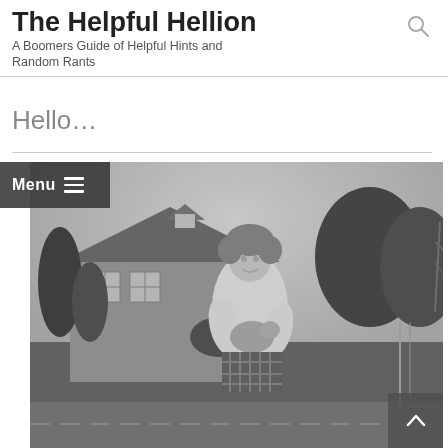The Helpful Hellion
A Boomers Guide of Helpful Hints and Random Rants
Hello...
[Figure (photo): Black and white vintage photograph of a young woman holding a small dog, standing outdoors in front of a house with trees and shrubs in the background. She is wearing a white top and plaid shorts or skirt.]
Menu ≡